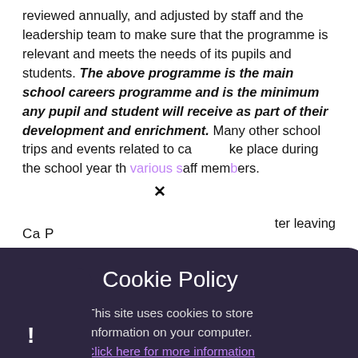reviewed annually, and adjusted by staff and the leadership team to make sure that the programme is relevant and meets the needs of its pupils and students. The above programme is the main school careers programme and is the minimum any pupil and student will receive as part of their development and enrichment. Many other school trips and events related to careers take place during the school year through various staff members.
after leaving
Holford ... 2 and 13 ... age of
[Figure (screenshot): Cookie Policy popup overlay with dark purple background, title 'Cookie Policy', body text 'This site uses cookies to store information on your computer. Click here for more information', and two buttons: 'Allow Cookies' and 'Deny Cookies'. An X close button appears at the top right of the popup. A small dark corner with an exclamation mark appears at the bottom left of the page.]